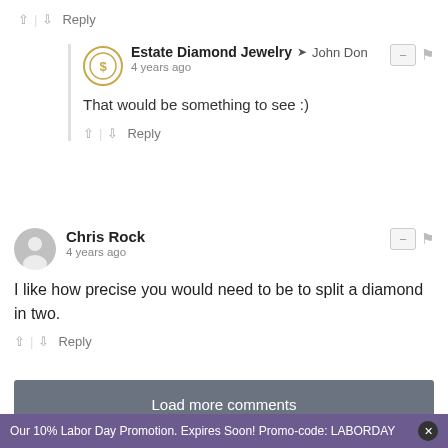↑ | ↓ Reply
Estate Diamond Jewelry → John Don
4 years ago
That would be something to see :)
↑ | ↓ Reply
Chris Rock
4 years ago
I like how precise you would need to be to split a diamond in two.
↑ | ↓ Reply
Load more comments
✉ Subscribe  ▲ Do Not Sell My Data   DISQUS
Our 10% Labor Day Promotion. Expires Soon! Promo-code: LABORDAY